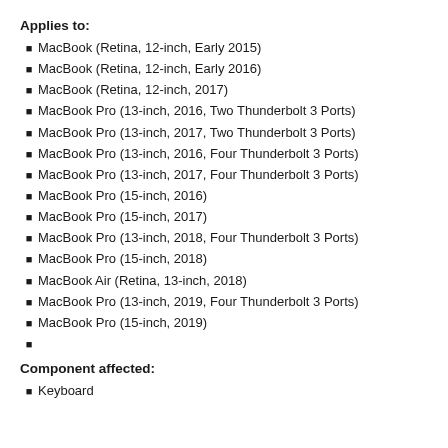Applies to:
MacBook (Retina, 12-inch, Early 2015)
MacBook (Retina, 12-inch, Early 2016)
MacBook (Retina, 12-inch, 2017)
MacBook Pro (13-inch, 2016, Two Thunderbolt 3 Ports)
MacBook Pro (13-inch, 2017, Two Thunderbolt 3 Ports)
MacBook Pro (13-inch, 2016, Four Thunderbolt 3 Ports)
MacBook Pro (13-inch, 2017, Four Thunderbolt 3 Ports)
MacBook Pro (15-inch, 2016)
MacBook Pro (15-inch, 2017)
MacBook Pro (13-inch, 2018, Four Thunderbolt 3 Ports)
MacBook Pro (15-inch, 2018)
MacBook Air (Retina, 13-inch, 2018)
MacBook Pro (13-inch, 2019, Four Thunderbolt 3 Ports)
MacBook Pro (15-inch, 2019)
Component affected:
Keyboard